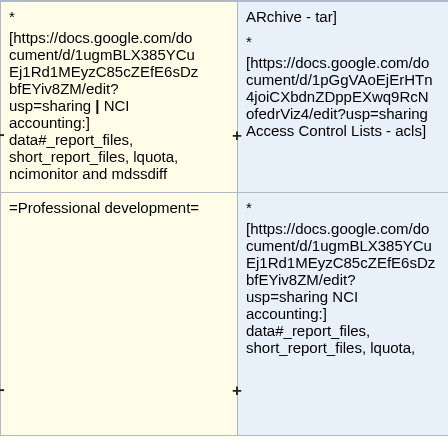| Column 1 | Column 2 |
| --- | --- |
| * [https://docs.google.com/document/d/1ugmBLX385YCuEj1Rd1MEyzC85cZEfE6sDzbfEYiv8ZM/edit?usp=sharing | NCI accounting:] data#_report_files, short_report_files, lquota, ncimonitor and mdssdiff | ARchive - tar]
* [https://docs.google.com/document/d/1pGgVAoEjErHTn4joiCXbdnZDppEXwq9RcNofedrViz4/edit?usp=sharing Access Control Lists - acls] |
| =Professional development= | * [https://docs.google.com/document/d/1ugmBLX385YCuEj1Rd1MEyzC85cZEfE6sDzbfEYiv8ZM/edit?usp=sharing NCI accounting:] data#_report_files, short_report_files, lquota, |